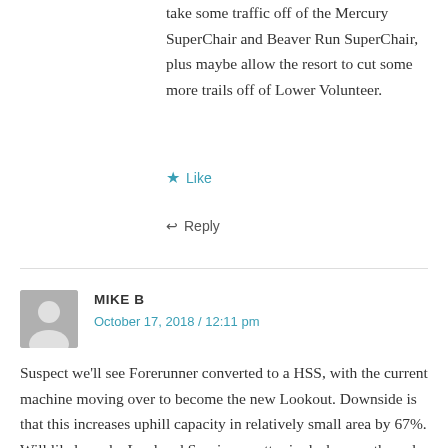take some traffic off of the Mercury SuperChair and Beaver Run SuperChair, plus maybe allow the resort to cut some more trails off of Lower Volunteer.
★ Like
↩ Reply
MIKE B
October 17, 2018 / 12:11 pm
Suspect we'll see Forerunner converted to a HSS, with the current machine moving over to become the new Lookout. Downside is that this increases uphill capacity in relatively small area by 67%. Will likely make Lord and Sunrise an utter junk show as the only non-expert ways out of that area.